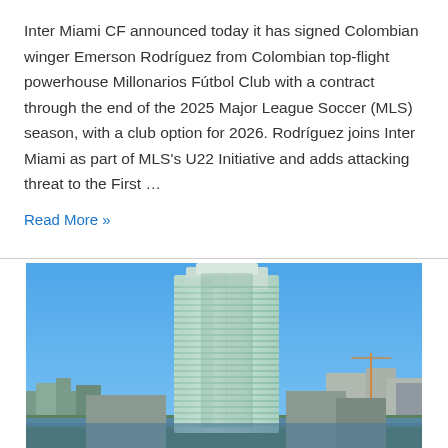Inter Miami CF announced today it has signed Colombian winger Emerson Rodríguez from Colombian top-flight powerhouse Millonarios Fútbol Club with a contract through the end of the 2025 Major League Soccer (MLS) season, with a club option for 2026. Rodríguez joins Inter Miami as part of MLS's U22 Initiative and adds attacking threat to the First …
Read More »
[Figure (photo): Aerial photo of a tall modern glass-and-steel high-rise building with teal/green accents surrounded by city skyline under a clear blue sky, likely in Miami or Fort Lauderdale.]